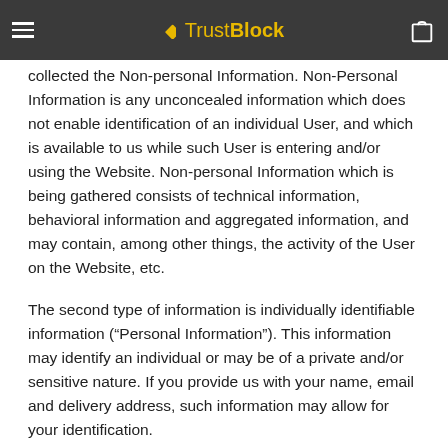TrustBlock
collected the Non-personal Information. Non-Personal Information is any unconcealed information which does not enable identification of an individual User, and which is available to us while such User is entering and/or using the Website. Non-personal Information which is being gathered consists of technical information, behavioral information and aggregated information, and may contain, among other things, the activity of the User on the Website, etc.
The second type of information is individually identifiable information (“Personal Information”). This information may identify an individual or may be of a private and/or sensitive nature. If you provide us with your name, email and delivery address, such information may allow for your identification.
For avoidance of doubt, any Non-Personal Information connected or linked to any Personal Information shall be deemed as Personal Information as long as such connection